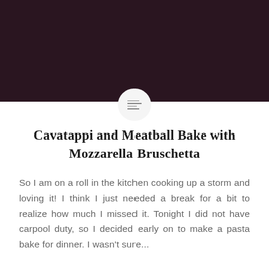[Figure (illustration): Dark maroon/brown header background image area filling the top portion of the page, with a circular white icon in the center bottom edge containing menu/text lines]
Cavatappi and Meatball Bake with Mozzarella Bruschetta
So I am on a roll in the kitchen cooking up a storm and loving it! I think I just needed a break for a bit to realize how much I missed it. Tonight I did not have carpool duty, so I decided early on to make a pasta bake for dinner. I wasn't sure...